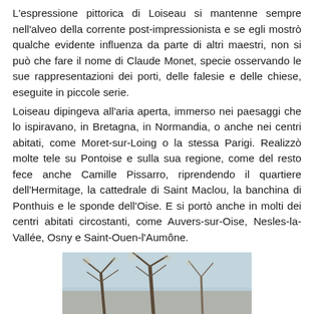L'espressione pittorica di Loiseau si mantenne sempre nell'alveo della corrente post-impressionista e se egli mostrò qualche evidente influenza da parte di altri maestri, non si può che fare il nome di Claude Monet, specie osservando le sue rappresentazioni dei porti, delle falesie e delle chiese, eseguite in piccole serie.
Loiseau dipingeva all'aria aperta, immerso nei paesaggi che lo ispiravano, in Bretagna, in Normandia, o anche nei centri abitati, come Moret-sur-Loing o la stessa Parigi. Realizzò molte tele su Pontoise e sulla sua regione, come del resto fece anche Camille Pissarro, riprendendo il quartiere dell'Hermitage, la cattedrale di Saint Maclou, la banchina di Ponthuis e le sponde dell'Oise. E si portò anche in molti dei centri abitati circostanti, come Auvers-sur-Oise, Nesles-la-Vallée, Osny e Saint-Ouen-l'Aumône.
[Figure (photo): Partial view of a painting depicting tree branches against a light background, likely a post-impressionist landscape painting by Loiseau]